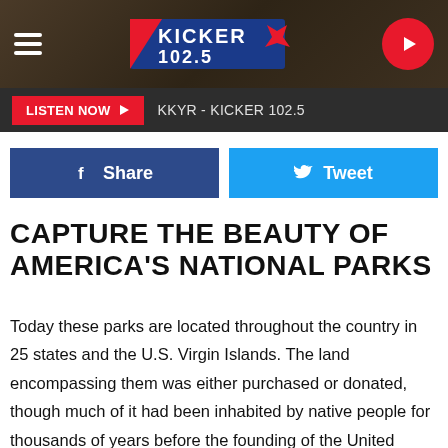KICKER 102.5 — KKYR - KICKER 102.5
LISTEN NOW ▶  KKYR - KICKER 102.5
f  Share    🐦  Tweet
CAPTURE THE BEAUTY OF AMERICA'S NATIONAL PARKS
Today these parks are located throughout the country in 25 states and the U.S. Virgin Islands. The land encompassing them was either purchased or donated, though much of it had been inhabited by native people for thousands of years before the founding of the United States. These areas are protected and revered as educational resources about the natural world, and as spaces for exploration.